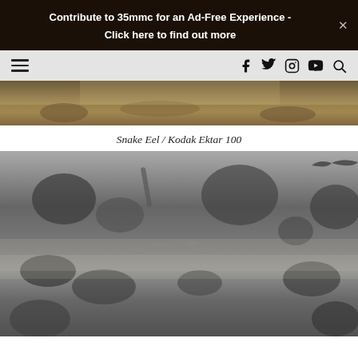Contribute to 35mmc for an Ad-Free Experience - Click here to find out more
[Figure (photo): Navigation bar with hamburger menu on left and social media icons (Facebook, Twitter, Instagram, YouTube) plus search icon on right, on grey background]
[Figure (photo): Partial top of an underwater color photograph showing coral reef scene with warm golden tones]
Snake Eel / Kodak Ektar 100
[Figure (photo): Black and white underwater photograph of a coral reef scene with fish swimming among coral formations on a sandy bottom]